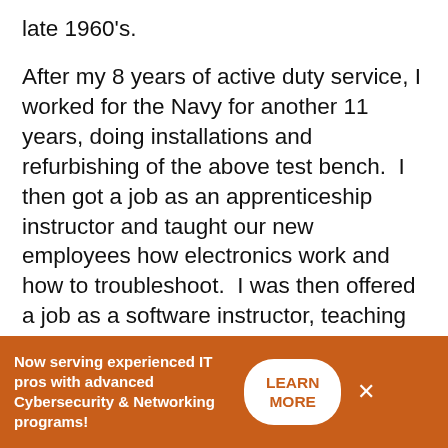late 1960's.
After my 8 years of active duty service, I worked for the Navy for another 11 years, doing installations and refurbishing of the above test bench.  I then got a job as an apprenticeship instructor and taught our new employees how electronics work and how to troubleshoot.  I was then offered a job as a software instructor, teaching MS DOS, WordPerfect, Lotus 1-2-3, Microsoft Windows 3.1 and Office.  I put together my first Novell 3.11 network, and eventually ran the entire training program on the east coast.
I LOVED the training I got while in the Navy, and I KNOW it set me up for my career.  I am now able to
Now serving experienced IT pros with advanced Cybersecurity & Networking programs!   LEARN MORE  ×